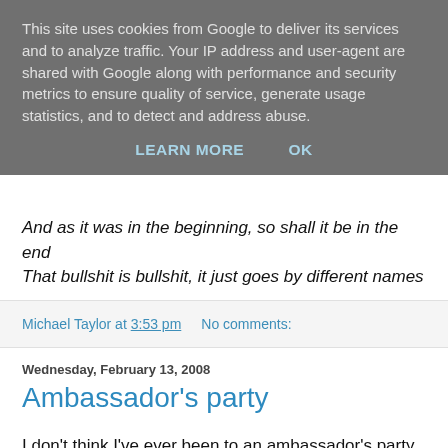This site uses cookies from Google to deliver its services and to analyze traffic. Your IP address and user-agent are shared with Google along with performance and security metrics to ensure quality of service, generate usage statistics, and to detect and address abuse.
LEARN MORE   OK
And as it was in the beginning, so shall it be in the end
That bullshit is bullshit, it just goes by different names
Michael Taylor at 3:53 pm   No comments:
Wednesday, February 13, 2008
Ambassador's party
I don't think I've ever been to an ambassador's party before. But Japan's man in London, Yoshiji Nogami, was in Manchester Town Hall on Monday night. Richard Leese takes up the formal part of the tale, here.